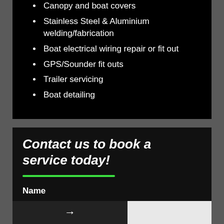Canopy and boat covers
Stainless Steel & Aluminium welding/fabrication
Boat electrical wiring repair or fit out
GPS/Sounder fit outs
Trailer servicing
Boat detailing
Contact us to book a service today!
Name